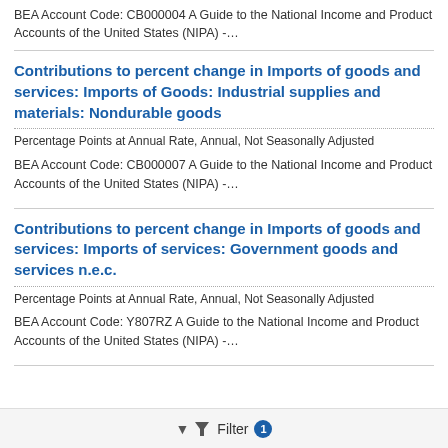BEA Account Code: CB000004 A Guide to the National Income and Product Accounts of the United States (NIPA) -…
Contributions to percent change in Imports of goods and services: Imports of Goods: Industrial supplies and materials: Nondurable goods
Percentage Points at Annual Rate, Annual, Not Seasonally Adjusted
BEA Account Code: CB000007 A Guide to the National Income and Product Accounts of the United States (NIPA) -…
Contributions to percent change in Imports of goods and services: Imports of services: Government goods and services n.e.c.
Percentage Points at Annual Rate, Annual, Not Seasonally Adjusted
BEA Account Code: Y807RZ A Guide to the National Income and Product Accounts of the United States (NIPA) -…
Filter 1